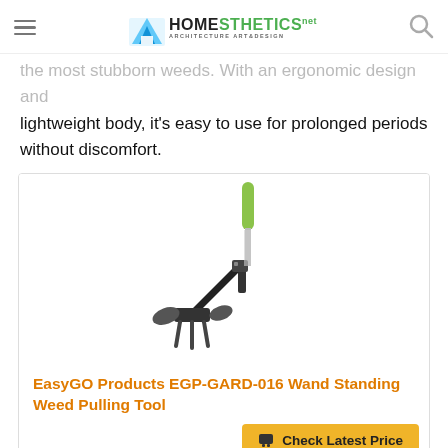Homesthetics — Architecture Art & Design
the most stubborn weeds. With an ergonomic design and lightweight body, it's easy to use for prolonged periods without discomfort.
[Figure (photo): EasyGO Products EGP-GARD-016 Wand Standing Weed Pulling Tool — a long-handled garden weeding tool with a bright green foam grip handle, black metal body, and pronged head at the bottom.]
EasyGO Products EGP-GARD-016 Wand Standing Weed Pulling Tool
Check Latest Price